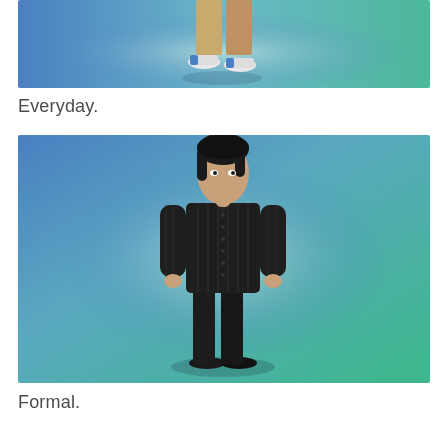[Figure (screenshot): A Sims 4 character shown from the waist down wearing khaki/tan pants and white sneakers, standing against a blue-to-teal gradient background.]
Everyday.
[Figure (screenshot): A Sims 4 male character with black hair wearing a dark pinstriped button-up shirt and black pants with black shoes, standing against a blue-to-teal gradient background. Full body view.]
Formal.